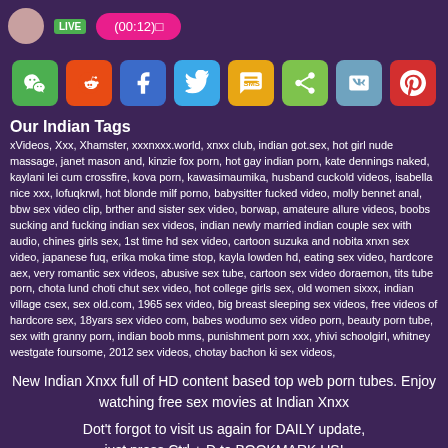[Figure (screenshot): Top banner with LIVE badge and pink button showing (00:12)]
[Figure (infographic): Row of social share buttons: WeChat, Reddit, Facebook, Twitter, SMS, Share, VK, Pinterest]
Our Indian Tags
xVideos, Xxx, Xhamster, xxxnxxx.world, xnxx club, indian got.sex, hot girl nude massage, janet mason and, kinzie fox porn, hot gay indian porn, kate dennings naked, kaylani lei cum crossfire, kova porn, kawasimaumika, husband cuckold videos, isabella nice xxx, lofuqkrwl, hot blonde milf porno, babysitter fucked video, molly bennet anal, bbw sex video clip, brther and sister sex video, borwap, amateure allure videos, boobs sucking and fucking indian sex videos, indian newly married indian couple sex with audio, chines girls sex, 1st time hd sex video, cartoon suzuka and nobita xnxn sex video, japanese fuq, erika moka time stop, kayla lowden hd, eating sex video, hardcore aex, very romantic sex videos, abusive sex tube, cartoon sex video doraemon, tits tube porn, chota lund choti chut sex video, hot college girls sex, old women sixxx, indian village csex, sex old.com, 1965 sex video, big breast sleeping sex videos, free videos of hardcore sex, 18yars sex video com, babes wodumo sex video porn, beauty porn tube, sex with granny porn, indian boob mms, punishment porn xxx, yhivi schoolgirl, whitney westgate foursome, 2012 sex videos, chotay bachon ki sex videos,
New Indian Xnxx full of HD content based top web porn tubes. Enjoy watching free sex movies at Indian Xnxx
Dot't forgot to visit us again for DAILY update, just press Ctrl + D to BOOKMARK US!
All rights reserved. Disclaimer: Indian Xnxx doesn't own, produce or host the videos displayed on this website. All of videos displayed are hosted by websites that are not under our control.